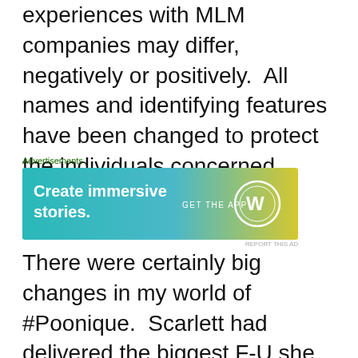experiences with MLM companies may differ, negatively or positively.  All names and identifying features have been changed to protect the individuals concerned.
[Figure (other): Advertisement banner: 'Create immersive stories. GET THE APP' with WordPress logo on a teal-to-yellow gradient background.]
There were certainly big changes in my world of #Poonique.  Scarlett had delivered the biggest F-U she could muster, Camilla had buggered off to Maëlle and Overlord Tania decided to recruit Deputy Bianca to handle all